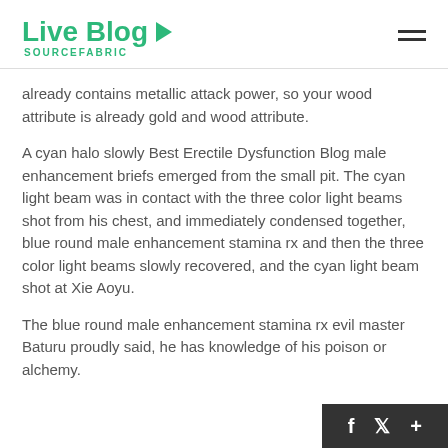Live Blog SOURCEFABRIC
already contains metallic attack power, so your wood attribute is already gold and wood attribute.
A cyan halo slowly Best Erectile Dysfunction Blog male enhancement briefs emerged from the small pit. The cyan light beam was in contact with the three color light beams shot from his chest, and immediately condensed together, blue round male enhancement stamina rx and then the three color light beams slowly recovered, and the cyan light beam shot at Xie Aoyu.
The blue round male enhancement stamina rx evil master Baturu proudly said, he has knowledge of his poison or alchemy.